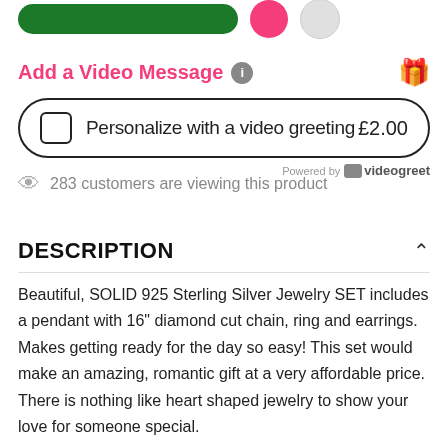[Figure (screenshot): Top decorative elements: green rounded button bar, pink circle, white/grey circle]
Add a Video Message
Personalize with a video greeting  £2.00
Powered by videogreet
283 customers are viewing this product
DESCRIPTION
Beautiful, SOLID 925 Sterling Silver Jewelry SET includes a pendant with 16" diamond cut chain, ring and earrings. Makes getting ready for the day so easy! This set would make an amazing, romantic gift at a very affordable price. There is nothing like heart shaped jewelry to show your love for someone special.